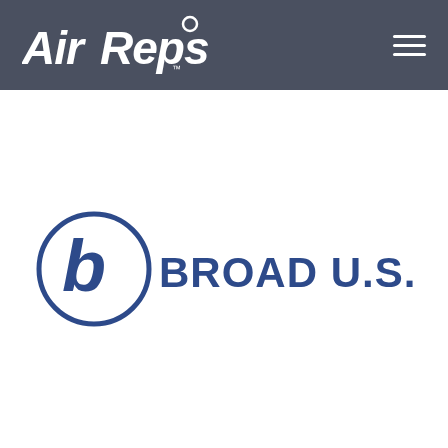AirReps
[Figure (logo): Broad U.S.A. Inc. logo with stylized 'b' inside an oval shape, in dark blue color, with text 'BROAD U.S.A. INC.' to the right]